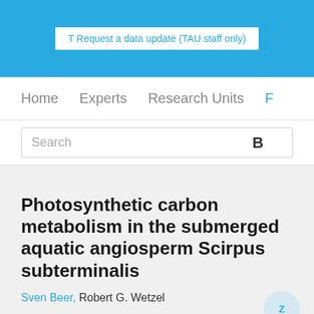T Request a data update (TAU staff only)
Home   Experts   Research Units   F
Search
Photosynthetic carbon metabolism in the submerged aquatic angiosperm Scirpus subterminalis
Sven Beer, Robert G. Wetzel
Research output: Contribution to journal › Article › peer-review